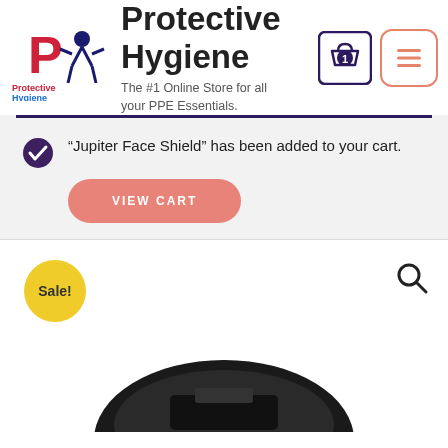[Figure (logo): Protective Hygiene logo with a person in PPE gear, red letter P, colorful text]
Protective Hygiene
The #1 Online Store for all your PPE Essentials.
“Jupiter Face Shield” has been added to your cart.
VIEW CART
[Figure (photo): Sale badge (yellow circle) and product image of a face shield or PPE equipment partially visible at bottom]